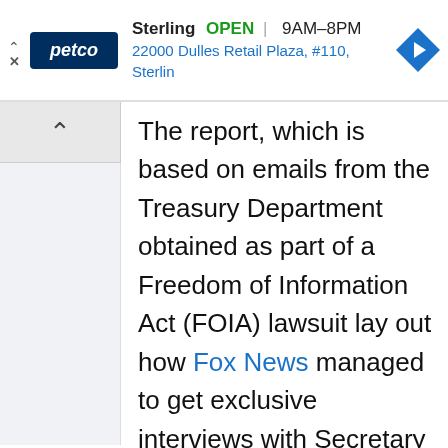[Figure (screenshot): Petco advertisement banner showing store name Sterling, status OPEN, hours 9AM-8PM, address 22000 Dulles Retail Plaza, #110, Sterlin, with Petco logo and navigation icon]
The report, which is based on emails from the Treasury Department obtained as part of a Freedom of Information Act (FOIA) lawsuit lay out how Fox News managed to get exclusive interviews with Secretary of the Treasury Steven Mnuchin and also that Baier, who hosts “Special Report” and is considered to one of